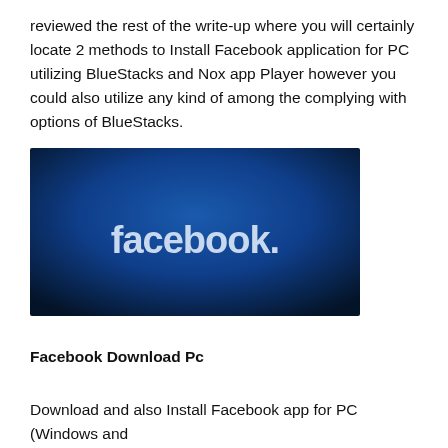reviewed the rest of the write-up where you will certainly locate 2 methods to Install Facebook application for PC utilizing BlueStacks and Nox app Player however you could also utilize any kind of among the complying with options of BlueStacks.
[Figure (screenshot): Facebook logo on a blue gradient background, white bold text reading 'facebook.']
Facebook Download Pc
Download and also Install Facebook app for PC (Windows and